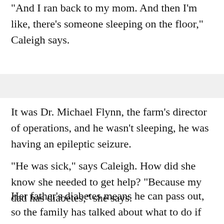"And I ran back to my mom. And then I'm like, there's someone sleeping on the floor," Caleigh says.
It was Dr. Michael Flynn, the farm's director of operations, and he wasn't sleeping, he was having an epileptic seizure.
"He was sick," says Caleigh. How did she know she needed to get help? "Because my dad has diabetes," she says.
Her father's diabetes means he can pass out, so the family has talked about what to do if that happens. To Caleigh, this was the same thing, so she told her mom right away.